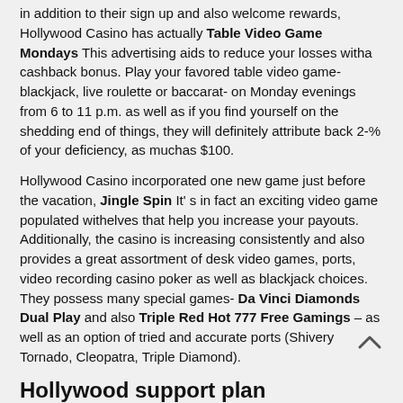in addition to their sign up and also welcome rewards, Hollywood Casino has actually Table Video Game Mondays This advertising aids to reduce your losses witha cashback bonus. Play your favored table video game- blackjack, live roulette or baccarat- on Monday evenings from 6 to 11 p.m. as well as if you find yourself on the shedding end of things, they will definitely attribute back 2-% of your deficiency, as muchas $100.
Hollywood Casino incorporated one new game just before the vacation, Jingle Spin It' s in fact an exciting video game populated withelves that help you increase your payouts. Additionally, the casino is increasing consistently and also provides a great assortment of desk video games, ports, video recording casino poker as well as blackjack choices. They possess many special games- Da Vinci Diamonds Dual Play and also Triple Red Hot 777 Free Gamings – as well as an option of tried and accurate ports (Shivery Tornado, Cleopatra, Triple Diamond).
Hollywood support plan
Hollywood Casino' s outdated benefits program was actually called Signboard Perks, now the support system you are searching for is actually mychoice.
This plan provides players an odds to get incentives at any type of